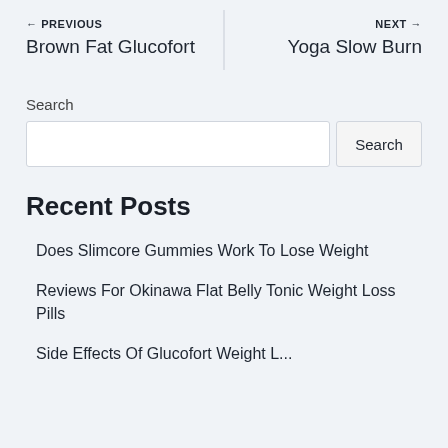← PREVIOUS | NEXT →
Brown Fat Glucofort | Yoga Slow Burn
Search
Search
Recent Posts
Does Slimcore Gummies Work To Lose Weight
Reviews For Okinawa Flat Belly Tonic Weight Loss Pills
Side Effects Of Glucofort Weight L...